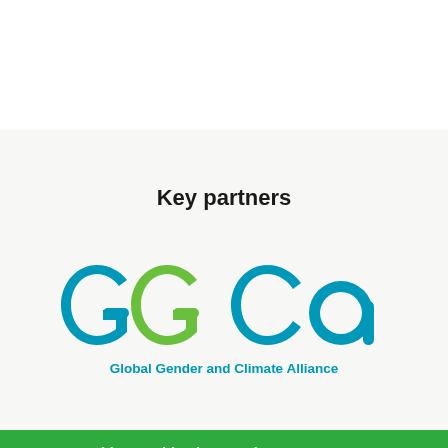Key partners
[Figure (logo): GGCA - Global Gender and Climate Alliance logo. Large teal and green stylized letters G G C A with the text 'Global Gender and Climate Alliance' below in teal.]
We use cookies on this site to enhance your user experience
By clicking any link on this page you are giving your consent for us to set cookies.
More info...